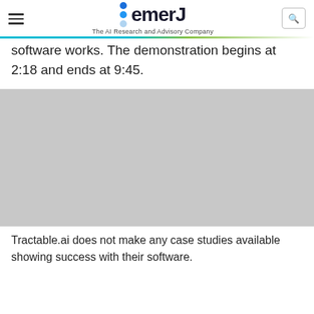emerJ – The AI Research and Advisory Company
software works. The demonstration begins at 2:18 and ends at 9:45.
[Figure (photo): Gray placeholder image representing a video or screenshot area]
Tractable.ai does not make any case studies available showing success with their software.